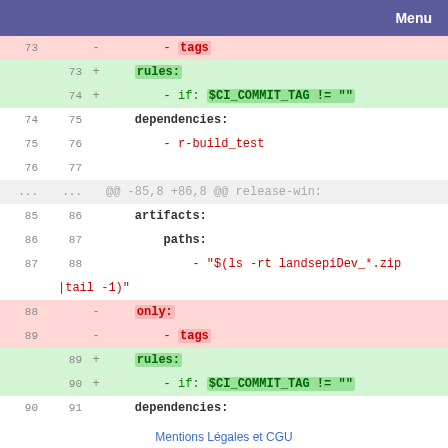Menu
[Figure (screenshot): Git diff view showing code changes in a CI/CD YAML file. Lines 73-93 showing removal of 'only: - tags' sections and addition of 'rules: - if: $CI_COMMIT_TAG != ""' sections. Also shows artifact paths with landsepiDev_*.zip.]
Mentions Légales et CGU